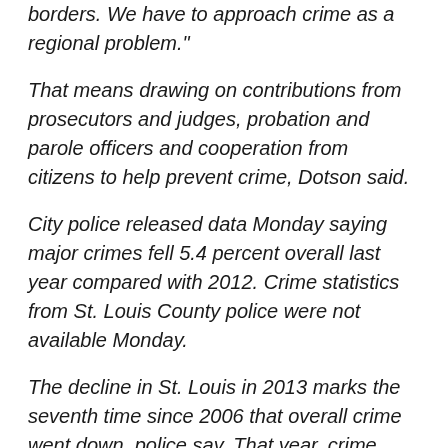borders. We have to approach crime as a regional problem."
That means drawing on contributions from prosecutors and judges, probation and parole officers and cooperation from citizens to help prevent crime, Dotson said.
City police released data Monday saying major crimes fell 5.4 percent overall last year compared with 2012. Crime statistics from St. Louis County police were not available Monday.
The decline in St. Louis in 2013 marks the seventh time since 2006 that overall crime went down, police say. That year, crime rose in nearly every category except murder. The 8,605 violent crimes recorded that year represented the